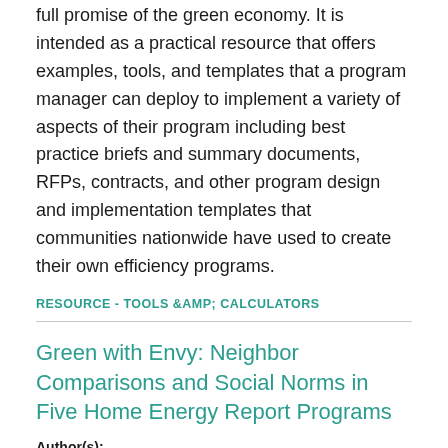full promise of the green economy. It is intended as a practical resource that offers examples, tools, and templates that a program manager can deploy to implement a variety of aspects of their program including best practice briefs and summary documents, RFPs, contracts, and other program design and implementation templates that communities nationwide have used to create their own efficiency programs.
RESOURCE - TOOLS &AMP; CALCULATORS
Green with Envy: Neighbor Comparisons and Social Norms in Five Home Energy Report Programs
Author(s): Kira Ashby and Hilary Forster, Consortium for Energy Efficiency, Bruce Ceniceros, Sacramento Municipal Utility District, Bobbi Wilhelm, Puget Sound Energy, Kim Friebel, Commonwealth Edison, Rachel Henschel, National Grid, Shahana Samiullah, Southern California Edison